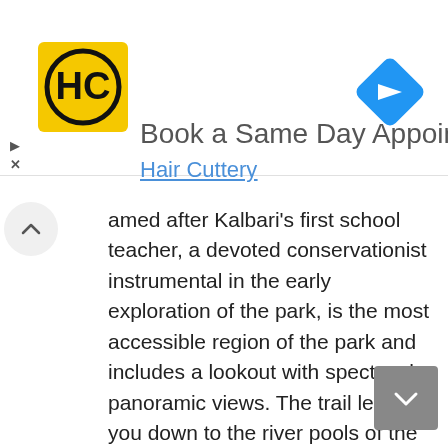call your Salon.
[Figure (screenshot): Advertisement banner for Hair Cuttery showing HC logo in yellow square, navigation arrow icon, play and close buttons, headline 'Book a Same Day Appointment' and subtext 'Hair Cuttery']
amed after Kalbari's first school teacher, a devoted conservationist instrumental in the early exploration of the park, is the most accessible region of the park and includes a lookout with spectacular panoramic views. The trail leads you down to the river pools of the Murchison River through 27 stairs, where you can enjoy a swim in the cool waters or even take some kayaks or canoes down to the river after plentiful rain. If you are lucky enough to visit during wildflower season (July to October) you will be met by a dazzling display of colour from the wildflower species of the region, many only found in the National Park, inluding Kalbarri Spider Orchid, and other common wildflower